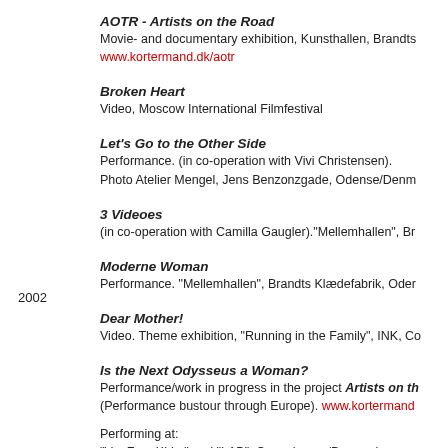AOTR - Artists on the Road
Movie- and documentary exhibition, Kunsthallen, Brandts
www.kortermand.dk/aotr
Broken Heart
Video, Moscow International Filmfestival
Let's Go to the Other Side
Performance. (in co-operation with Vivi Christensen).
Photo Atelier Mengel, Jens Benzonzgade, Odense/Denm
3 Videoes
(in co-operation with Camilla Gaugler)."Mellemhallen", Br
Moderne Woman
Performance. "Mellemhallen", Brandts Klædefabrik, Oder
2002
Dear Mother!
Video. Theme exhibition, "Running in the Family", INK, Co
Is the Next Odysseus a Woman?
Performance/work in progress in the project Artists on th
(Performance bustour through Europe). www.kortermand

Performing at:
"Vor Frue Kirke" and "LAB", Copenhagen/Denmark
"Konstakuten", Stockholm/Sweden
"Muu Gallery", Helsinki/Finland